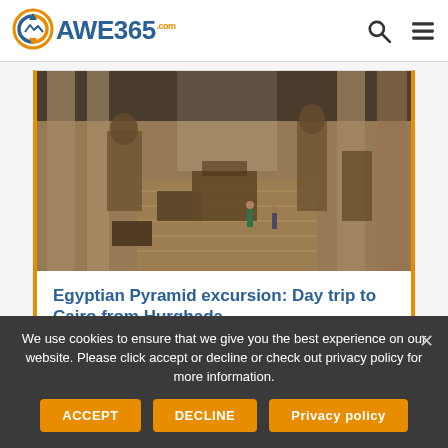AWE365.com
[Figure (photo): Aerial view of an Egyptian museum interior showing ancient statues, sarcophagi, and artifacts arranged in a large hall with visitors walking among exhibits]
Egyptian Pyramid excursion: Day trip to Cairo from Hurghada
€ 200 for 1 days
We use cookies to ensure that we give you the best experience on our website. Please click accept or decline or check out privacy policy for more information.
ACCEPT
DECLINE
Privacy policy